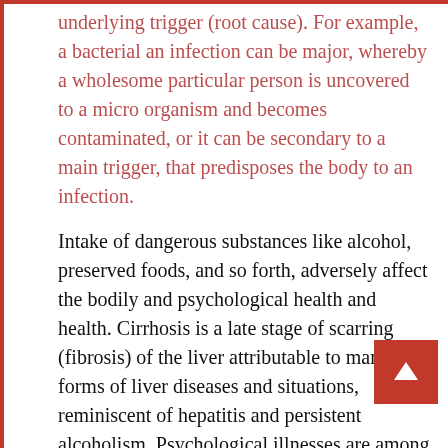underlying trigger (root cause). For example, a bacterial an infection can be major, whereby a wholesome particular person is uncovered to a micro organism and becomes contaminated, or it can be secondary to a main trigger, that predisposes the body to an infection.
Intake of dangerous substances like alcohol, preserved foods, and so forth, adversely affect the bodily and psychological health and health. Cirrhosis is a late stage of scarring (fibrosis) of the liver attributable to many forms of liver diseases and situations, reminiscent of hepatitis and persistent alcoholism. Psychological illnesses are among the many most common well being circumstances in the United States.
Since it will probably lead to a variety of issues, paralysis of contralateral sides of the physique, lack